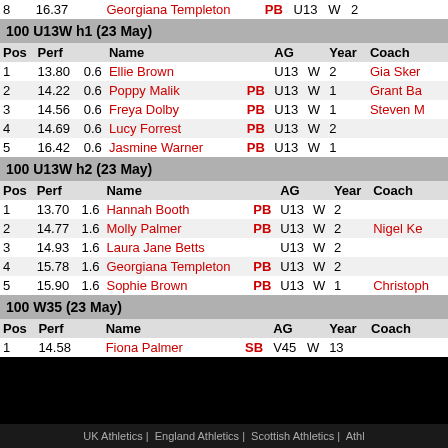| Pos | Perf |  | Name |  | AG |  | Year | Coach |
| --- | --- | --- | --- | --- | --- | --- | --- | --- |
| 8 | 16.37 |  | Georgiana Templeton | PB | U13 | W | 2 |  |
100 U13W h1 (23 May)
| Pos | Perf |  | Name |  | AG |  | Year | Coach |
| --- | --- | --- | --- | --- | --- | --- | --- | --- |
| 1 | 13.80 | 0.6 | Ellie Brown |  | U13 | W | 2 | Gia Sker |
| 2 | 14.22 | 0.6 | Poppy Malik | PB | U13 | W | 1 | Grant Ba |
| 3 | 14.56 | 0.6 | Freya Dolby | PB | U13 | W | 1 | Steven M |
| 4 | 14.69 | 0.6 | Lucy Forrest | PB | U13 | W | 2 |  |
| 5 | 16.42 | 0.6 | Jasmine Warner | PB | U13 | W | 1 |  |
100 U13W h2 (23 May)
| Pos | Perf |  | Name |  | AG |  | Year | Coach |
| --- | --- | --- | --- | --- | --- | --- | --- | --- |
| 1 | 13.70 | 1.6 | Hannah Booth | PB | U13 | W | 2 |  |
| 2 | 14.77 | 1.6 | Molly Palmer | PB | U13 | W | 2 | Nigel Ke |
| 3 | 14.93 | 1.6 | Laura Jane Betts |  | U13 | W | 2 |  |
| 4 | 15.78 | 1.6 | Georgiana Templeton | PB | U13 | W | 2 |  |
| 5 | 15.90 | 1.6 | Sophie Brown | PB | U13 | W | 1 | Christoph |
100 W35 (23 May)
| Pos | Perf |  | Name |  | AG |  | Year | Coach |
| --- | --- | --- | --- | --- | --- | --- | --- | --- |
| 1 | 14.58 |  | Fiona Palmer | SB | V45 | W | 13 |  |
UK Athletics | England Athletics | Scottish Athletics | Athl